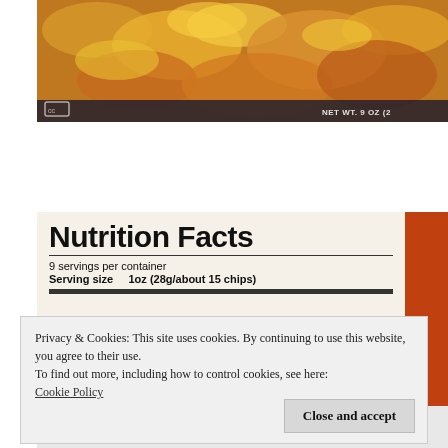[Figure (photo): Close-up photo of chips/snack food packaging showing food product with yellow and orange coloring. NET WT. 9 OZ text visible in bottom right corner.]
[Figure (photo): Nutrition Facts label on snack chip packaging showing: 9 servings per container, Serving size 1oz (28g/about 15 chips). Orange/brown packaging visible on right side.]
Privacy & Cookies: This site uses cookies. By continuing to use this website, you agree to their use.
To find out more, including how to control cookies, see here:
Cookie Policy
Close and accept
Trans Fat 0g